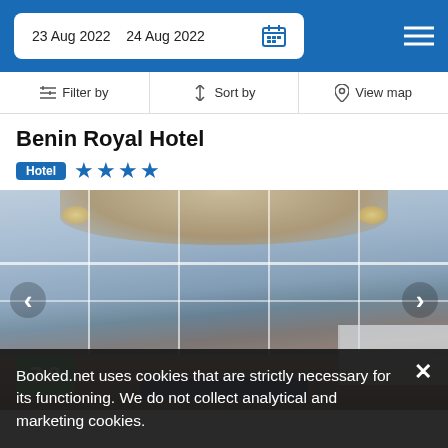23 Aug 2022  24 Aug 2022
Filter by  Sort by  View map
Benin Royal Hotel
Hotel ★★★★
[Figure (photo): Hotel lobby interior showing a glass revolving/automatic door, marble floors, chandelier lighting, and a reception area. Score badge showing 7.8 in green.]
Booked.net uses cookies that are strictly necessary for its functioning. We do not collect analytical and marketing cookies.